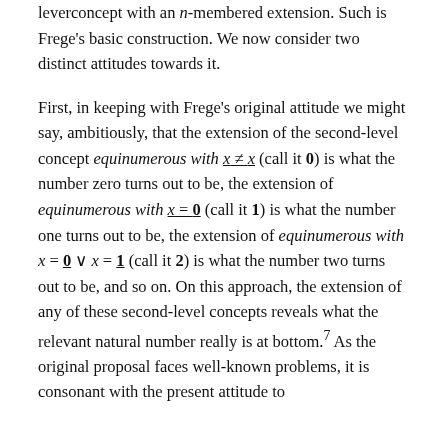leverconcept with an n-membered extension. Such is Frege's basic construction. We now consider two distinct attitudes towards it.
First, in keeping with Frege's original attitude we might say, ambitiously, that the extension of the second-level concept equinumerous with x ≠ x (call it 0) is what the number zero turns out to be, the extension of equinumerous with x = 0 (call it 1) is what the number one turns out to be, the extension of equinumerous with x = 0 ∨ x = 1 (call it 2) is what the number two turns out to be, and so on. On this approach, the extension of any of these second-level concepts reveals what the relevant natural number really is at bottom.⁷ As the original proposal faces well-known problems, it is consonant with the present attitude to